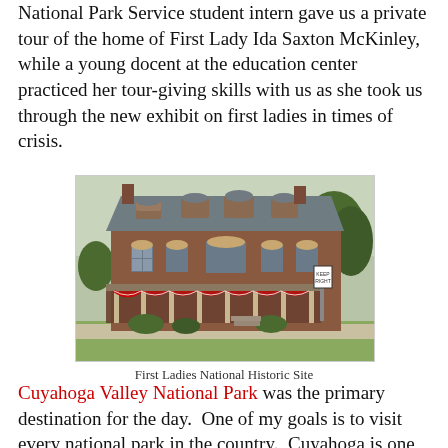National Park Service student intern gave us a private tour of the home of First Lady Ida Saxton McKinley, while a young docent at the education center practiced her tour-giving skills with us as she took us through the new exhibit on first ladies in times of crisis.
[Figure (photo): Photograph of the First Ladies National Historic Site, a Victorian-era red brick building with mansard roof, decorative dormers, and a covered porch with patriotic bunting.]
First Ladies National Historic Site
Cuyahoga Valley National Park was the primary destination for the day.  One of my goals is to visit every national park in the country.  Cuyahoga is one of the newest national parks and was only designated in 2000.  It is known, among other things, as the